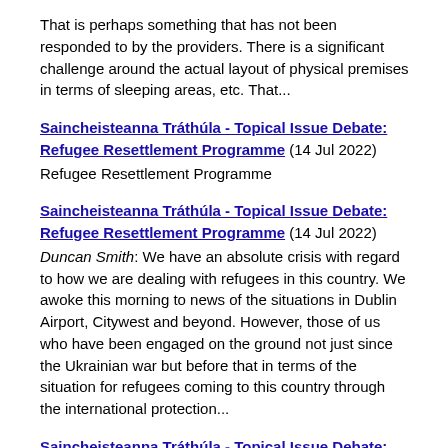That is perhaps something that has not been responded to by the providers. There is a significant challenge around the actual layout of physical premises in terms of sleeping areas, etc. That...
Saincheisteanna Tráthúla - Topical Issue Debate: Refugee Resettlement Programme (14 Jul 2022)
Refugee Resettlement Programme
Saincheisteanna Tráthúla - Topical Issue Debate: Refugee Resettlement Programme (14 Jul 2022)
Duncan Smith: We have an absolute crisis with regard to how we are dealing with refugees in this country. We awoke this morning to news of the situations in Dublin Airport, Citywest and beyond. However, those of us who have been engaged on the ground not just since the Ukrainian war but before that in terms of the situation for refugees coming to this country through the international protection...
Saincheisteanna Tráthúla - Topical Issue Debate: Disability Services (14 Jul 2022)
Malcolm Noonan: I am responding to this matter on behalf of the Minister of State at the Department of Health, Deputy Rabbitte. The Deputy highlighted a difficult case and it is important the issue of access to therapies and respite be resolved. The Government recognises how important respite can be for relieving pressure and enhancing the quality of life of families, particularly due to the impact the...